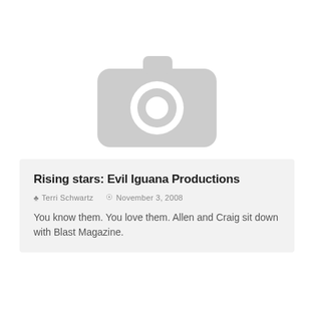[Figure (illustration): Gray placeholder camera icon on white background]
Rising stars: Evil Iguana Productions
Terri Schwartz   November 3, 2008
You know them. You love them. Allen and Craig sit down with Blast Magazine.